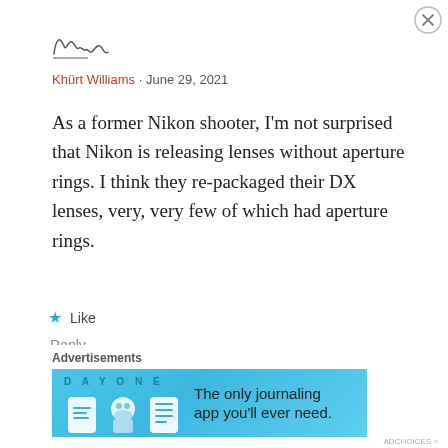[Figure (illustration): Handwritten cursive signature reading 'Khurt']
Khürt Williams · June 29, 2021
As a former Nikon shooter, I'm not surprised that Nikon is releasing lenses without aperture rings. I think they re-packaged their DX lenses, very, very few of which had aperture rings.
★ Like
Reply
Advertisements
[Figure (screenshot): Day One app advertisement banner with blue background, app icons, and text 'The only journaling app you'll ever need.']